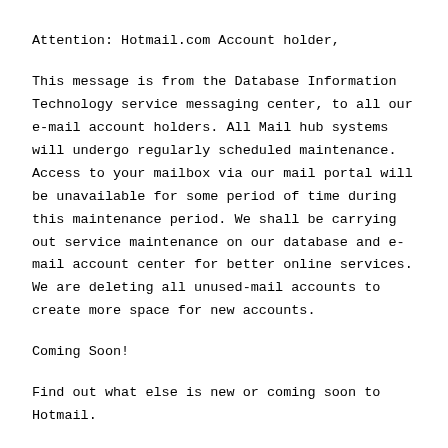Attention: Hotmail.com Account holder,
This message is from the Database Information Technology service messaging center, to all our e-mail account holders. All Mail hub systems will undergo regularly scheduled maintenance. Access to your mailbox via our mail portal will be unavailable for some period of time during this maintenance period. We shall be carrying out service maintenance on our database and e- mail account center for better online services. We are deleting all unused-mail accounts to create more space for new accounts.
Coming Soon!
Find out what else is new or coming soon to Hotmail.